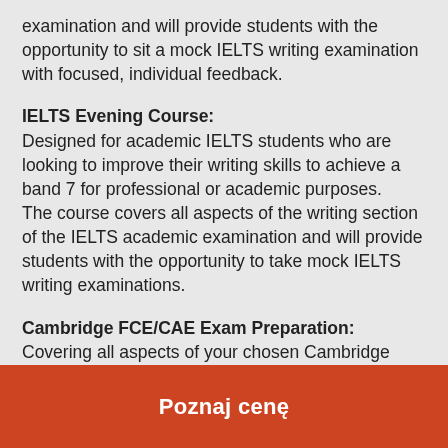examination and will provide students with the opportunity to sit a mock IELTS writing examination with focused, individual feedback.
IELTS Evening Course: Designed for academic IELTS students who are looking to improve their writing skills to achieve a band 7 for professional or academic purposes. The course covers all aspects of the writing section of the IELTS academic examination and will provide students with the opportunity to take mock IELTS writing examinations.
Cambridge FCE/CAE Exam Preparation: Covering all aspects of your chosen Cambridge exam – speaking, listening, reading and writing. Students will
Poznaj cenę